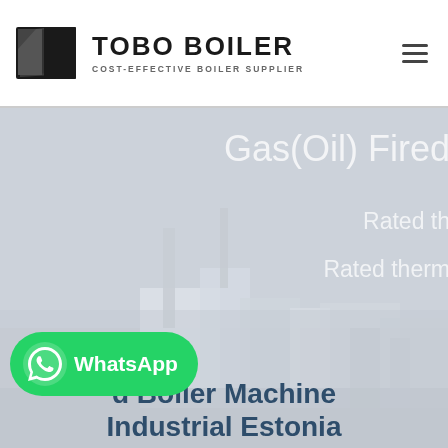TOBO BOILER — COST-EFFECTIVE BOILER SUPPLIER
[Figure (photo): Hero banner showing industrial boiler equipment in background with light gray/blue overlay. Text overlay reads 'Gas(Oil) Fired' and 'Rated th...' and 'Rated therm...' partially visible on the right side. Bottom section shows partial text '...d Boiler Machine Industrial Estonia'. WhatsApp button visible in lower left.]
Gas(Oil) Fired
Rated th
Rated therm
d Boiler Machine Industrial Estonia